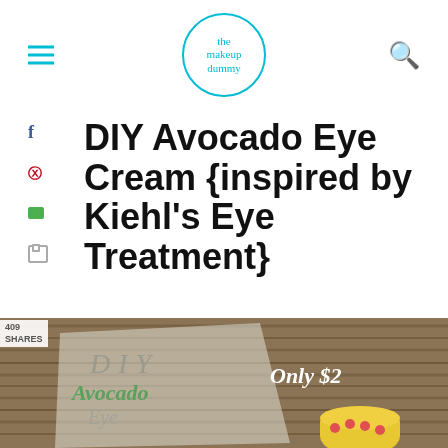the makeup dummy - blog logo with hamburger menu and search icon
DIY Avocado Eye Cream {inspired by Kiehl's Eye Treatment}
[Figure (photo): A wooden surface with DIY Avocado Eye text overlay in green cursive and grey block letters, with a yellow floral container and text 'Only $2' in white script. Share/save UI overlay elements visible.]